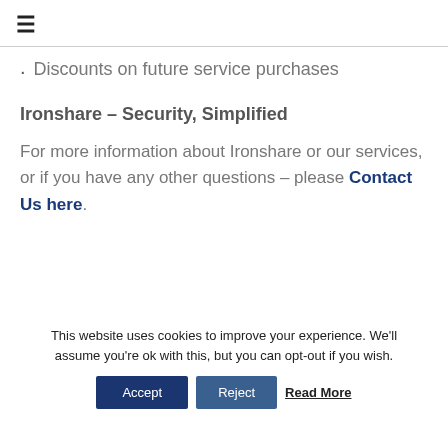☰
Discounts on future service purchases
Ironshare – Security, Simplified
For more information about Ironshare or our services, or if you have any other questions – please Contact Us here.
This website uses cookies to improve your experience. We'll assume you're ok with this, but you can opt-out if you wish. Accept Reject Read More